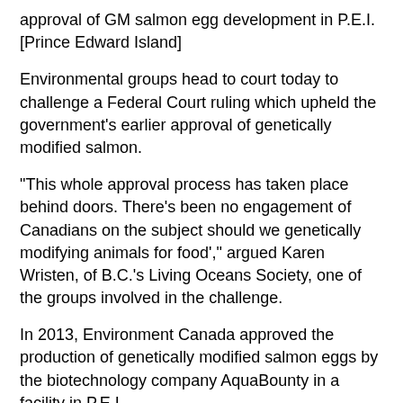approval of GM salmon egg development in P.E.I. [Prince Edward Island]
Environmental groups head to court today to challenge a Federal Court ruling which upheld the government's earlier approval of genetically modified salmon.
"This whole approval process has taken place behind doors. There's been no engagement of Canadians on the subject should we genetically modifying animals for food'," argued Karen Wristen, of B.C.'s Living Oceans Society, one of the groups involved in the challenge.
In 2013, Environment Canada approved the production of genetically modified salmon eggs by the biotechnology company AquaBounty in a facility in P.E.I.
AquaBounty claims its genetically modified Atlantic salmon egg — which uses genes from the eel-like ocean pout — allows the fish to grow twice as large.